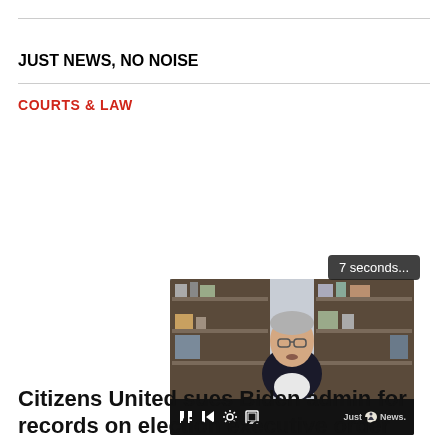JUST NEWS, NO NOISE
COURTS & LAW
[Figure (screenshot): Video player screenshot showing a man in a black jacket speaking, with bookshelves in background. Timer badge showing '7 seconds...' overlaid. Video controls bar at bottom with pause, back, settings, and fullscreen icons, and Just the News logo.]
Citizens United sues Biden admin for records on election executive order